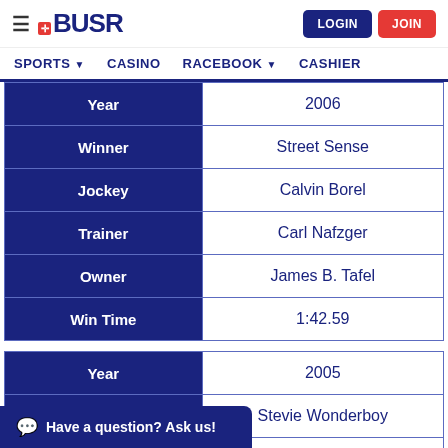BUSR - LOGIN - JOIN - SPORTS - CASINO - RACEBOOK - CASHIER
| Field | Value |
| --- | --- |
| Year | 2006 |
| Winner | Street Sense |
| Jockey | Calvin Borel |
| Trainer | Carl Nafzger |
| Owner | James B. Tafel |
| Win Time | 1:42.59 |
| Field | Value |
| --- | --- |
| Year | 2005 |
| Winner | Stevie Wonderboy |
| Jockey | Garrett Gomez |
| Trainer | Doug O'Neill |
| Owner | Merv Griffin Ranch |